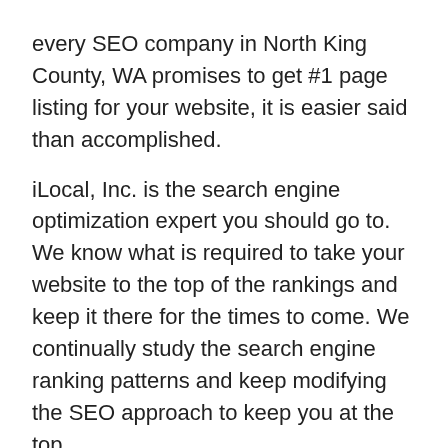every SEO company in North King County, WA promises to get #1 page listing for your website, it is easier said than accomplished.
iLocal, Inc. is the search engine optimization expert you should go to. We know what is required to take your website to the top of the rankings and keep it there for the times to come. We continually study the search engine ranking patterns and keep modifying the SEO approach to keep you at the top.
Local SEO
Global SEO
On Page Optimization techniques
Off Page Optimization techniques
Regular tracking and monitoring of website performance
Modifications in SEO tactics